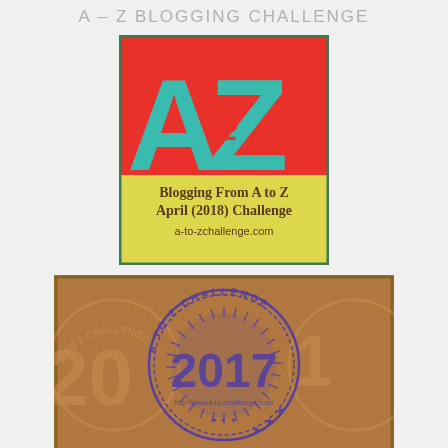A – Z BLOGGING CHALLENGE
[Figure (logo): A to Z Blogging From A to Z April (2018) Challenge logo with large teal A and Z on red/yellow background, text reads: Blogging From A to Z April (2018) Challenge, a-to-zchallenge.com]
[Figure (illustration): A to Z Challenge 2017 stamp/badge on brown/gold background showing circular stamp with '2017' and 'A TO Z CHALLENGE' text and URL http://www.a-to-zchallenge.com/]